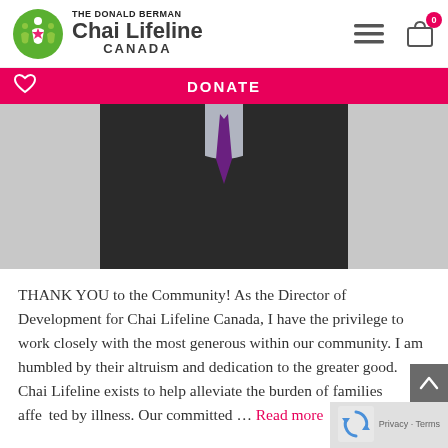THE DONALD BERMAN Chai Lifeline CANADA
DONATE
[Figure (photo): A man in a black suit and purple tie, cropped from roughly chest-up, photographed against a light background.]
THANK YOU to the Community! As the Director of Development for Chai Lifeline Canada, I have the privilege to work closely with the most generous within our community. I am humbled by their altruism and dedication to the greater good. Chai Lifeline exists to help alleviate the burden of families affected by illness. Our committed ... Read more